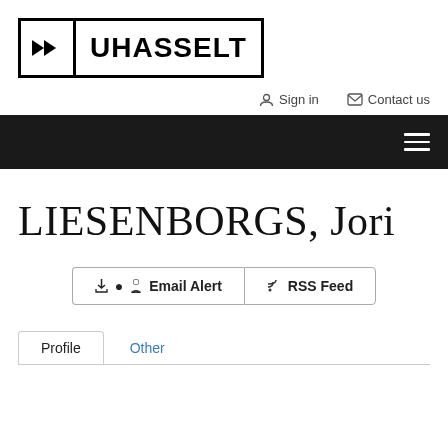[Figure (logo): UHasselt university logo with double forward arrow icon and UHASSELT text in bold, inside a rectangular border]
Sign in   Contact us
[Figure (other): Dark navigation bar with hamburger menu icon (three horizontal lines) on the right]
LIESENBORGS, Jori
Email Alert   RSS Feed
Profile   Other